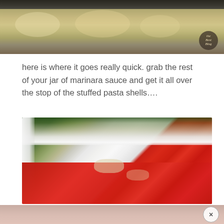[Figure (photo): Close-up photo of stuffed pasta shells in a dark baking dish, viewed from above, showing golden-brown cheese-filled shells. A small circular logo/watermark visible in lower right corner.]
here is where it goes really quick. grab the rest of your jar of marinara sauce and get it all over the stop of the stuffed pasta shells….
[Figure (photo): Close-up photo of a white ceramic baking dish containing stuffed pasta shells being covered with red marinara sauce. Green vegetables (asparagus) visible in the background.]
[Figure (photo): Bottom strip showing a blurred pinkish/food background with a circular close (X) button in the lower right corner.]